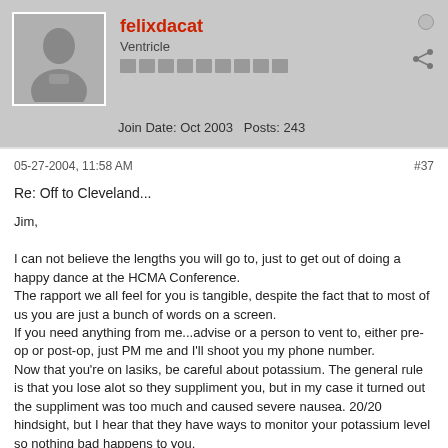[Figure (illustration): Generic user avatar silhouette in gray]
felixdacat
Ventricle
Join Date: Oct 2003   Posts: 243
05-27-2004, 11:58 AM   #37
Re: Off to Cleveland...
Jim,

I can not believe the lengths you will go to, just to get out of doing a happy dance at the HCMA Conference.
The rapport we all feel for you is tangible, despite the fact that to most of us you are just a bunch of words on a screen.
If you need anything from me...advise or a person to vent to, either pre-op or post-op, just PM me and I'll shoot you my phone number.
Now that you're on lasiks, be careful about potassium. The general rule is that you lose alot so they suppliment you, but in my case it turned out the suppliment was too much and caused severe nausea. 20/20 hindsight, but I hear that they have ways to monitor your potassium level so nothing bad happens to you.
We better see you dancing at the 05 conference!
Fx